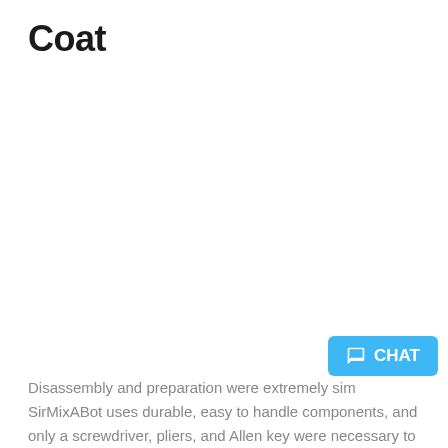Coat
Disassembly and preparation were extremely sim... SirMixABot uses durable, easy to handle components, and only a screwdriver, pliers, and Allen key were necessary to